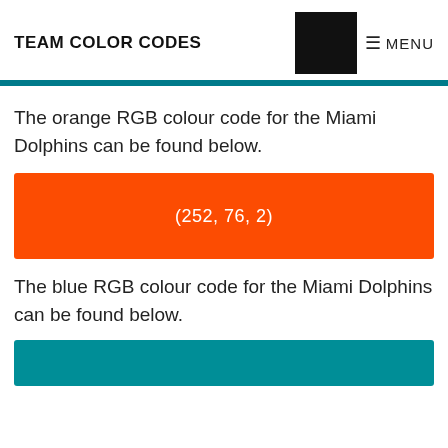TEAM COLOR CODES
The orange RGB colour code for the Miami Dolphins can be found below.
[Figure (infographic): Orange color swatch showing RGB value (252, 76, 2) for Miami Dolphins orange]
The blue RGB colour code for the Miami Dolphins can be found below.
[Figure (infographic): Blue color swatch for Miami Dolphins blue, partially visible at bottom of page]